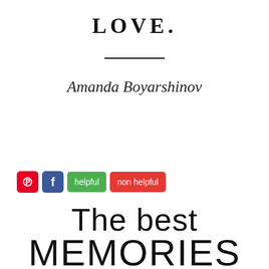LOVE.
[Figure (other): Horizontal decorative divider line]
Amanda Boyarshinov
[Figure (infographic): Social sharing buttons: Pinterest (red), Facebook (blue), helpful (green), non helpful (red)]
The best MEMORIES